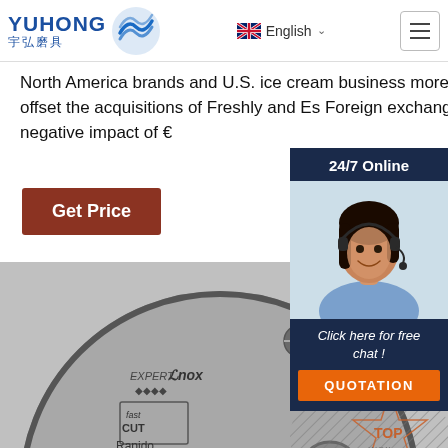YUHONG 宇弘磨具 | English | Menu
North America brands and U.S. ice cream business more than offset the acquisitions of Freshly and Es... Foreign exchange had a negative impact of €...
Get Price
[Figure (photo): Bosch Expert Inox Fast Cut Rapido cutting disc (angle grinder cutting wheel), silver/grey disc with red BOSCH logo, 'EXPERT Inox' text, 'fast CUT' label, 'Rapido' text, and 'TOP INOX' star badge visible.]
[Figure (photo): 24/7 Online chat widget showing a smiling female customer service agent with headset, dark hair, over a blue-themed chat widget with 'Click here for free chat!' text and an orange QUOTATION button.]